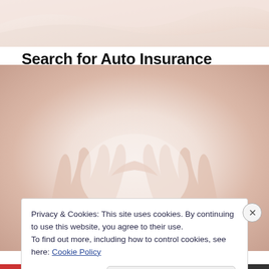[Figure (photo): Top decorative banner image with soft pink/beige gradient tones]
Search for Auto Insurance
Search Ads
[Figure (photo): Background image of hands forming a roof/house shape, softly lit, warm peach and beige tones]
Privacy & Cookies: This site uses cookies. By continuing to use this website, you agree to their use.
To find out more, including how to control cookies, see here: Cookie Policy
Close and accept